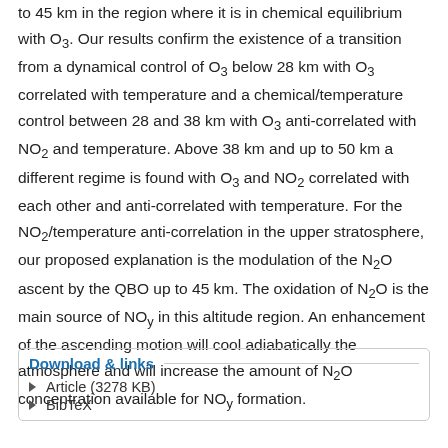to 45 km in the region where it is in chemical equilibrium with O3. Our results confirm the existence of a transition from a dynamical control of O3 below 28 km with O3 correlated with temperature and a chemical/temperature control between 28 and 38 km with O3 anti-correlated with NO2 and temperature. Above 38 km and up to 50 km a different regime is found with O3 and NO2 correlated with each other and anti-correlated with temperature. For the NO2/temperature anti-correlation in the upper stratosphere, our proposed explanation is the modulation of the N2O ascent by the QBO up to 45 km. The oxidation of N2O is the main source of NOy in this altitude region. An enhancement of the ascending motion will cool adiabatically the atmosphere and will increase the amount of N2O concentration available for NOy formation.
Download & links
Article (3278 KB)
BibTeX